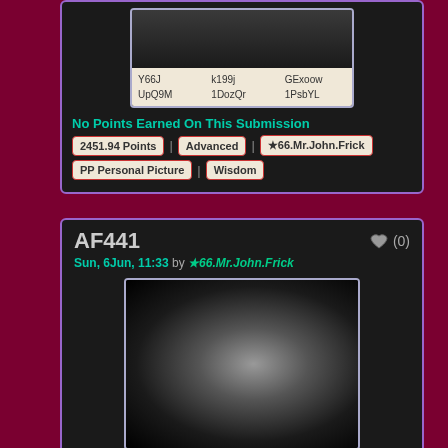[Figure (screenshot): Dark gradient image placeholder in top card with beige grid of code labels: Y66J, k199j, GExoow, UpQ9M, 1DozQr, 1PsbYL]
No Points Earned On This Submission
2451.94 Points | Advanced | ★66.Mr.John.Frick | PP Personal Picture | Wisdom
AF441
Sun, 6Jun, 11:33 by ★66.Mr.John.Frick
[Figure (photo): Dark abstract blurred gradient image in bottom card, mostly black with central grey/white blur]